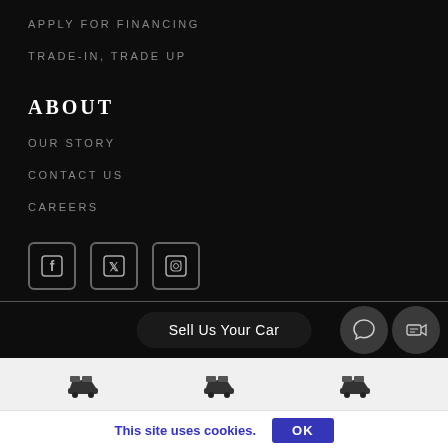APPLY FOR FINANCING
TRADE-IN, TRADE UP
ABOUT
OUR STORY
CONTACT US
CAREERS
[Figure (infographic): Social media icons: Facebook, Twitter, Instagram in rounded square outlines]
[Figure (screenshot): Sell Us Your Car button (pill-shaped) with chat icon buttons to the right]
[Figure (infographic): Row of car icons on light gray background]
This site uses cookies.
OK